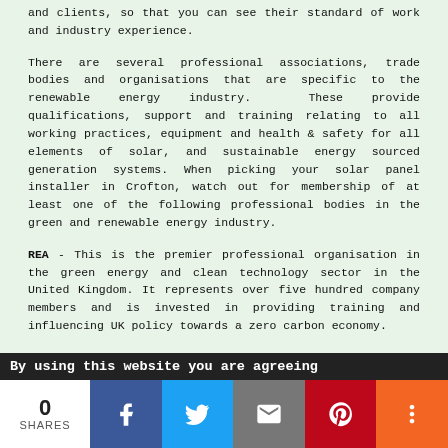and clients, so that you can see their standard of work and industry experience.
There are several professional associations, trade bodies and organisations that are specific to the renewable energy industry. These provide qualifications, support and training relating to all working practices, equipment and health & safety for all elements of solar, and sustainable energy sourced generation systems. When picking your solar panel installer in Crofton, watch out for membership of at least one of the following professional bodies in the green and renewable energy industry.
REA - This is the premier professional organisation in the green energy and clean technology sector in the United Kingdom. It represents over five hundred company members and is invested in providing training and influencing UK policy towards a zero carbon economy.
MCS (Microgeneration Certification Scheme) - The MCS (Microgeneration Certification Scheme) is the recognised mark all solar panel installers and solar equipment, should have in the British Isles. The scheme provides a quality mark for the solar panels and associated apparatus, and
By using this website you are agreeing
0 SHARES